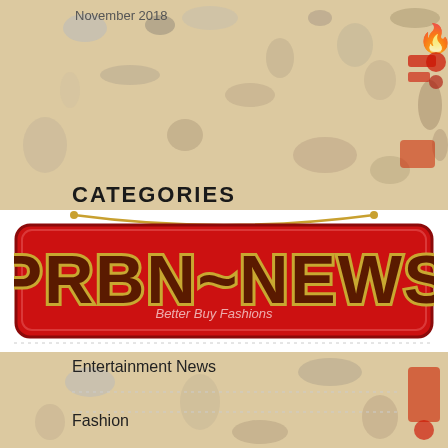November 2018
[Figure (logo): PRBN~NEWS logo sign on red background with gold/dark text, with 'Better Buy Fashions' text overlay]
CATEGORIES
Entertainment News
Fashion
General
Uncategorized
Video Game
Video Game Accessories